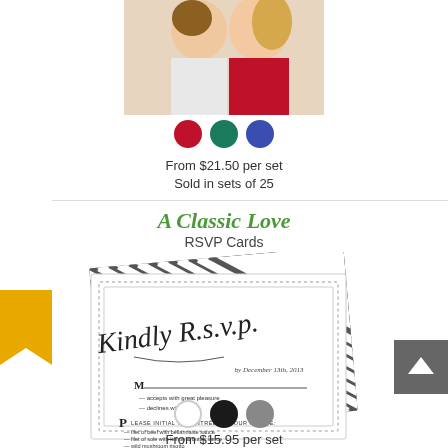[Figure (photo): Partial photo of a couple, man in white shirt and woman in red sweater, cropped at top]
[Figure (infographic): Three color swatches: red, teal, blue circular dots]
From $21.50 per set
Sold in sets of 25
A Classic Love
RSVP Cards
[Figure (photo): RSVP card product preview showing 'Kindly R.s.v.p.' in elegant calligraphy script with striped border, dated December 13th, 2013, with meal choice options]
[Figure (infographic): Three color swatches: white, black, gray circular dots]
From $15.95 per set